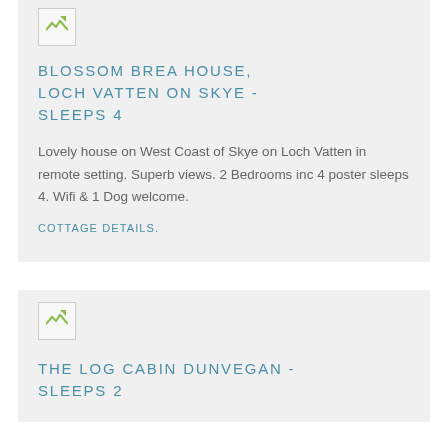[Figure (photo): Small broken/placeholder image thumbnail at top of first card]
BLOSSOM BREA HOUSE, LOCH VATTEN ON SKYE - SLEEPS 4
Lovely house on West Coast of Skye on Loch Vatten in remote setting. Superb views. 2 Bedrooms inc 4 poster sleeps 4. Wifi & 1 Dog welcome.
COTTAGE DETAILS.
[Figure (photo): Small broken/placeholder image thumbnail in second card]
THE LOG CABIN DUNVEGAN - SLEEPS 2